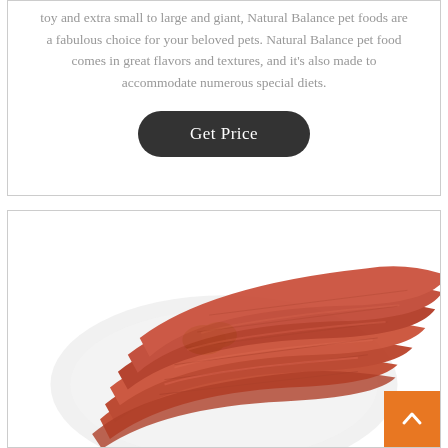toy and extra small to large and giant, Natural Balance pet foods are a fabulous choice for your beloved pets. Natural Balance pet food comes in great flavors and textures, and it's also made to accommodate numerous special diets.
[Figure (other): A dark rounded-rectangle button labeled 'Get Price' in white text on a dark charcoal background.]
[Figure (photo): A plate of layered red-brown meat jerky strips piled on a white plate with a small green garnish, photographed from above at an angle.]